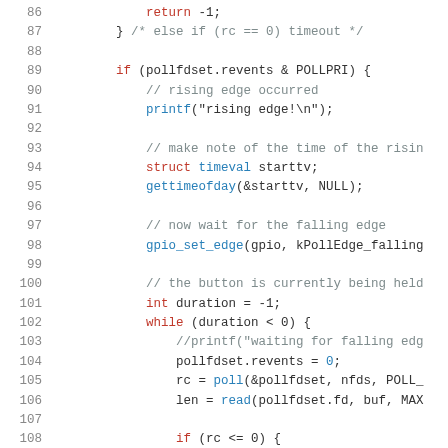Code listing lines 86-108, C source code for GPIO polling and edge detection